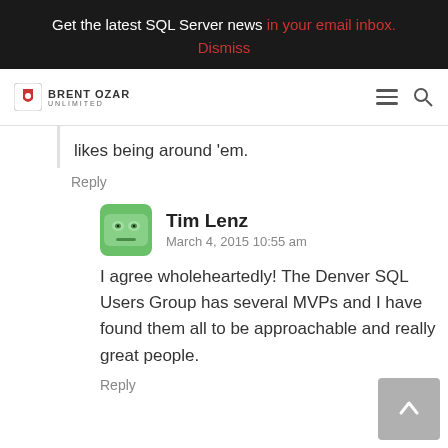Get the latest SQL Server news in your email inbox. Dismiss
[Figure (logo): Brent Ozar Unlimited logo with navigation hamburger and search icons]
likes being around 'em.
Reply
[Figure (photo): Tim Lenz avatar - green cartoon face icon]
Tim Lenz
March 4, 2015 10:55 am
I agree wholeheartedly! The Denver SQL Users Group has several MVPs and I have found them all to be approachable and really great people.
Reply